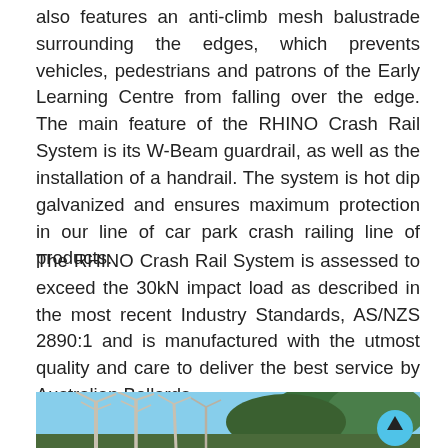also features an anti-climb mesh balustrade surrounding the edges, which prevents vehicles, pedestrians and patrons of the Early Learning Centre from falling over the edge. The main feature of the RHINO Crash Rail System is its W-Beam guardrail, as well as the installation of a handrail. The system is hot dip galvanized and ensures maximum protection in our line of car park crash railing line of products.
The RHINO Crash Rail System is assessed to exceed the 30kN impact load as described in the most recent Industry Standards, AS/NZS 2890:1 and is manufactured with the utmost quality and care to deliver the best service by Australian Bollards.
[Figure (photo): Outdoor photo showing trees with bare white branches in the foreground against a blue sky, with green leafy trees in the background. A teal/cyan circular scroll-to-top button with an upward arrow is visible in the lower right corner of the image.]